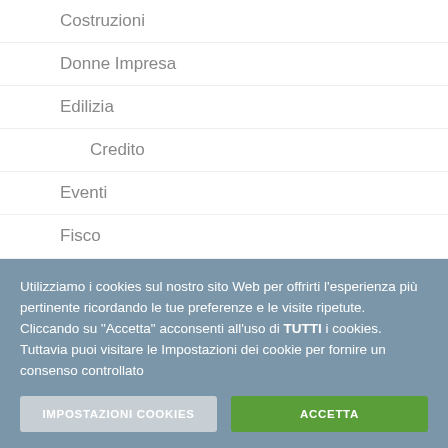Costruzioni
Donne Impresa
Edilizia
Credito
Eventi
Fisco
Formazione
Giovani e lavoro
Utilizziamo i cookies sul nostro sito Web per offrirti l'esperienza più pertinente ricordando le tue preferenze e le visite ripetute. Cliccando su "Accetta" acconsenti all'uso di TUTTI i cookies. Tuttavia puoi visitare le Impostazioni dei cookie per fornire un consenso controllato
IMPOSTAZIONI COOKIES
ACCETTA